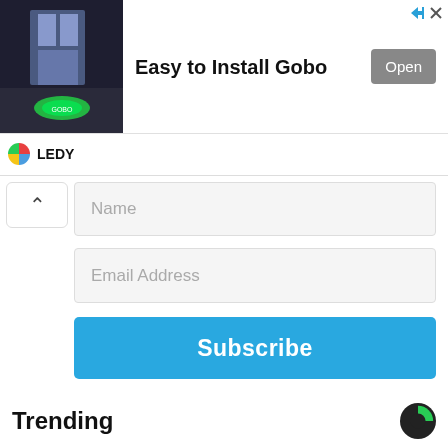[Figure (photo): Advertisement banner: indoor room with green logo projected on floor, LEDY brand ad for 'Easy to Install Gobo' with Open button and skip arrow]
Name
Email Address
Subscribe
Trending
[Figure (photo): Partial photo of a person wearing a red/magenta long sleeve top and blue jeans, cropped to show torso]